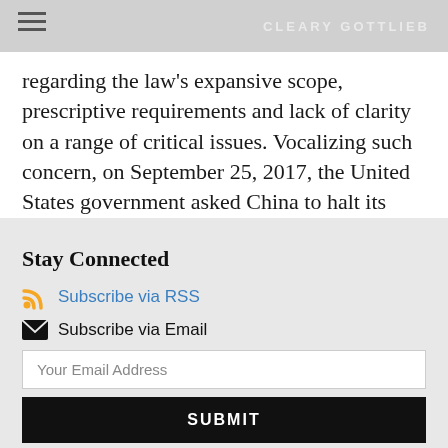CLEARY GOTTLIEB
regarding the law’s expansive scope, prescriptive requirements and lack of clarity on a range of critical issues. Vocalizing such concern, on September 25, 2017, the United States government asked China to halt its implementation of…
Stay Connected
Subscribe via RSS
Subscribe via Email
Your Email Address
SUBMIT